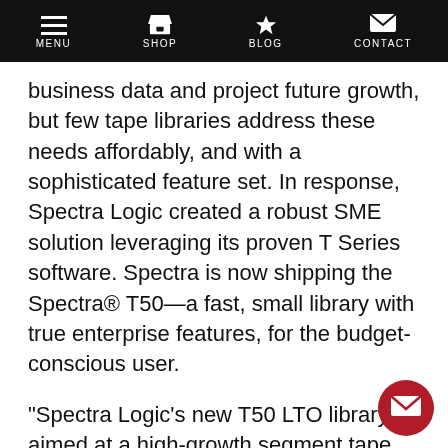MENU SHOP BLOG CONTACT
business data and project future growth, but few tape libraries address these needs affordably, and with a sophisticated feature set. In response, Spectra Logic created a robust SME solution leveraging its proven T Series software. Spectra is now shipping the Spectra® T50—a fast, small library with true enterprise features, for the budget-conscious user.
“Spectra Logic’s new T50 LTO library is aimed at a high-growth segment tape market,” said Robert Amatruda, research manager at IDC. “Today, customers demand more capacity and functionality at much lower cost.”